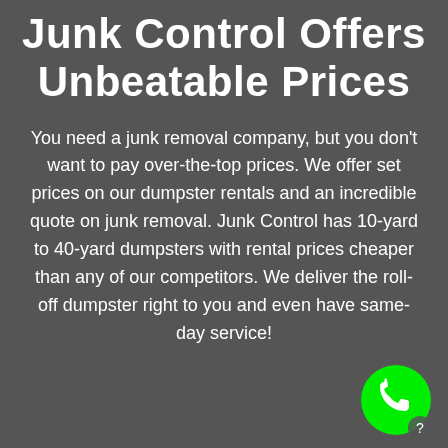Junk Control Offers Unbeatable Prices
You need a junk removal company, but you don't want to pay over-the-top prices. We offer set prices on our dumpster rentals and an incredible quote on junk removal. Junk Control has 10-yard to 40-yard dumpsters with rental prices cheaper than any of our competitors. We deliver the roll-off dumpster right to you and even have same-day service!
[Figure (illustration): Green circular phone call button with white phone handset icon in bottom right corner]